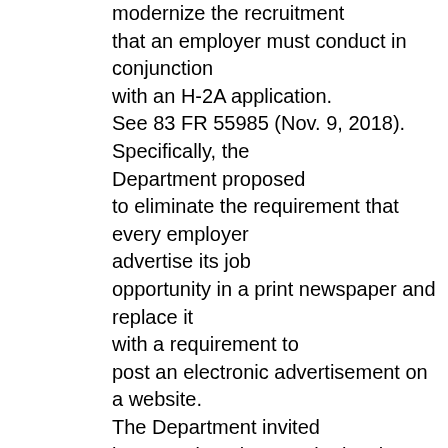modernize the recruitment that an employer must conduct in conjunction with an H-2A application. See 83 FR 55985 (Nov. 9, 2018). Specifically, the Department proposed to eliminate the requirement that every employer advertise its job opportunity in a print newspaper and replace it with a requirement to post an electronic advertisement on a website. The Department invited interested parties to submit written comments on all aspects of this proposal, including a variety of issues related to the electronic advertising requirement. The Department also solicited comments as to whether there were alternative methods of